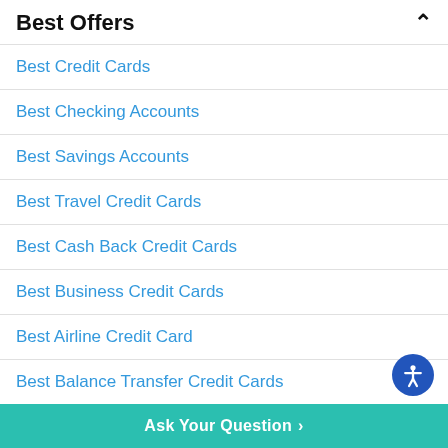Best Offers
Best Credit Cards
Best Checking Accounts
Best Savings Accounts
Best Travel Credit Cards
Best Cash Back Credit Cards
Best Business Credit Cards
Best Airline Credit Card
Best Balance Transfer Credit Cards
Free Credit Data
Free Credit Score
Ask Your Question >